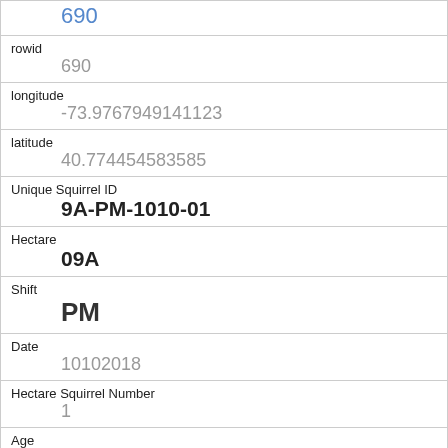| 690 |
| rowid | 690 |
| longitude | -73.9767949141123 |
| latitude | 40.774454583585 |
| Unique Squirrel ID | 9A-PM-1010-01 |
| Hectare | 09A |
| Shift | PM |
| Date | 10102018 |
| Hectare Squirrel Number | 1 |
| Age | Adult |
| Primary Fur Color |  |